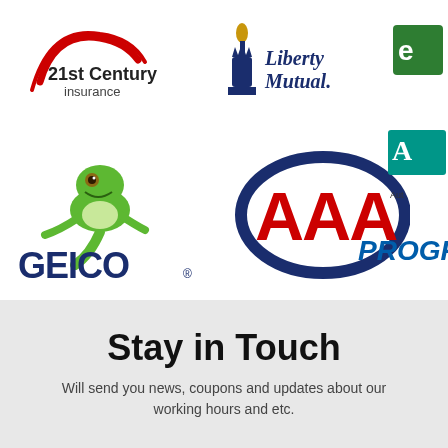[Figure (logo): 21st Century Insurance logo - red arc over text]
[Figure (logo): Liberty Mutual logo - Statue of Liberty torch with blue text]
[Figure (logo): Partially visible green logo on upper right]
[Figure (logo): GEICO logo with green gecko mascot and bold blue GEICO text]
[Figure (logo): AAA logo - red letters in blue oval ring]
[Figure (logo): Partially visible Auto-Owners Insurance logo on right]
[Figure (logo): Partially visible Progressive logo on lower right]
Stay in Touch
Will send you news, coupons and updates about our working hours and etc.